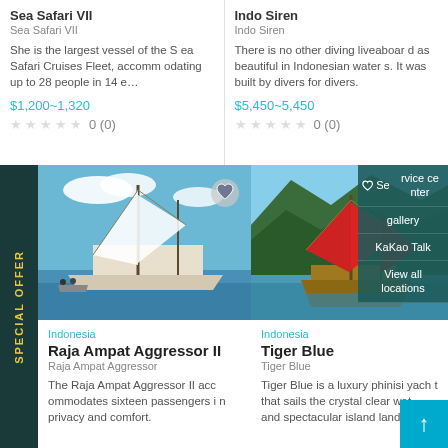Sea Safari VII
Sea Safari VII
She is the largest vessel of the Sea Safari Cruises Fleet, accommodating up to 28 people in 14 e…
$1,200~1,320
0 (0)
Indo Siren
Indo Siren
There is no other diving liveaboard as beautiful in Indonesian waters. It was built by divers for divers.
$5,450~5,450
0 (0)
SPECIAL OFFER
[Figure (photo): Sailing boat Raja Ampat Aggressor II on blue water]
[Figure (photo): Tiger Blue phinisi yacht with red sails near green island cliffs]
Service center
gallery
KaKao Talk
View all locations
Indonesia
Raja Ampat Aggressor II
Raja Ampat Aggressor
The Raja Ampat Aggressor II accommodates sixteen passengers in privacy and comfort.
Indonesia
Tiger Blue
Tiger Blue
Tiger Blue is a luxury phinisi yacht that sails the crystal clear waters and spectacular island landsca…